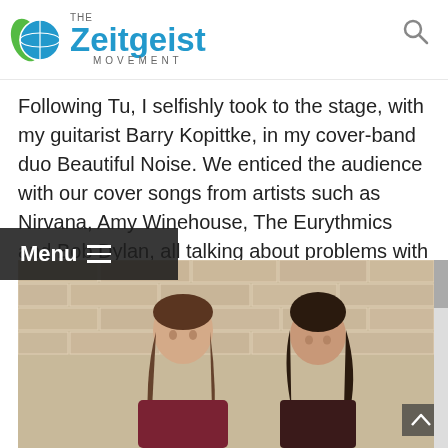THE Zeitgeist MOVEMENT
Following Tu, I selfishly took to the stage, with my guitarist Barry Kopittke, in my cover-band duo Beautiful Noise. We enticed the audience with our cover songs from artists such as Nirvana, Amy Winehouse, The Eurythmics and Bob Dylan, all talking about problems with the system and the darkness that can creep into humanity if we let it.
[Figure (photo): Two people (a man with long hair and a woman with dark hair) standing in front of a brick wall]